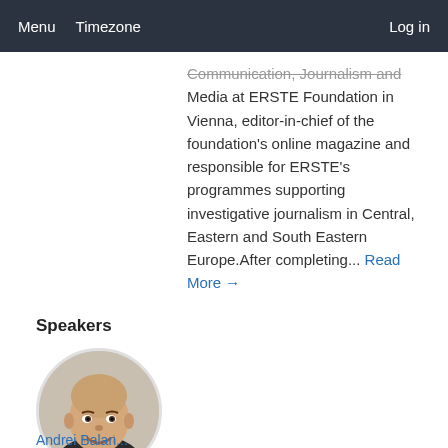Menu  Timezone  Log in
Communication, Journalism and Media at ERSTE Foundation in Vienna, editor-in-chief of the foundation's online magazine and responsible for ERSTE's programmes supporting investigative journalism in Central, Eastern and South Eastern Europe.After completing... Read More →
Speakers
[Figure (photo): Circular portrait photo of a bald smiling man in a dark jacket]
Andrei Balan...